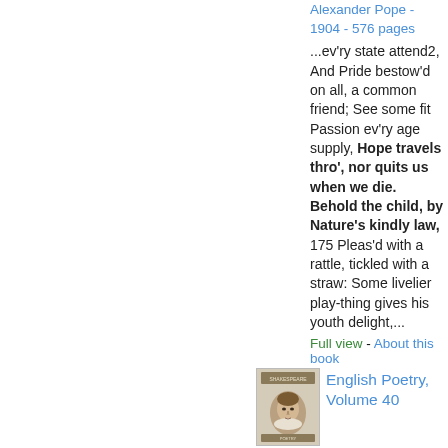Alexander Pope - 1904 - 576 pages
...ev'ry state attend2, And Pride bestow'd on all, a common friend; See some fit Passion ev'ry age supply, Hope travels thro', nor quits us when we die. Behold the child, by Nature's kindly law, 175 Pleas'd with a rattle, tickled with a straw: Some livelier play-thing gives his youth delight,...
Full view - About this book
English Poetry, Volume 40